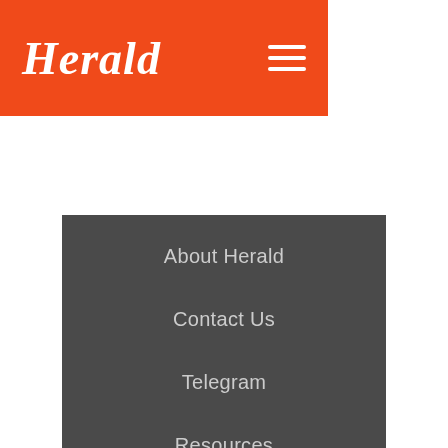Herald
About Herald
Contact Us
Telegram
Resources